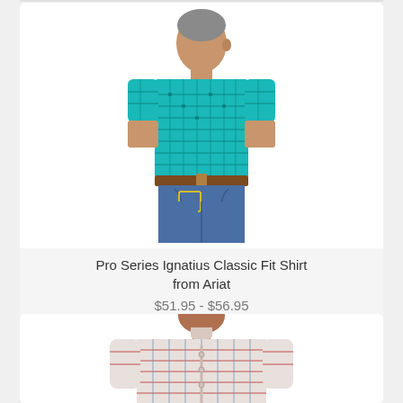[Figure (photo): Man wearing a teal/turquoise short-sleeve plaid button-up shirt, shown from the back, wearing blue jeans and a brown belt]
Pro Series Ignatius Classic Fit Shirt from Ariat
$51.95 - $56.95
[Figure (photo): Man wearing a light-colored plaid long-sleeve shirt, shown from the chest up, partial view]